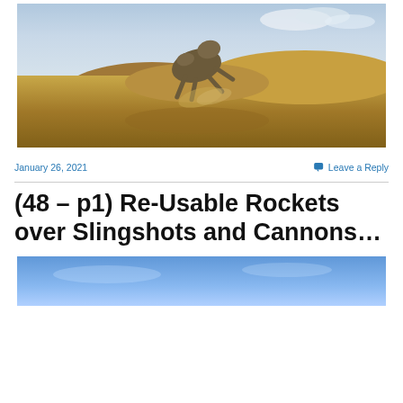[Figure (photo): An animal (possibly a camel or large mammal) tumbling/rolling in a sandy desert landscape with brown hills and a pale blue sky with clouds in the background.]
January 26, 2021
Leave a Reply
(48 – p1) Re-Usable Rockets over Slingshots and Cannons…
[Figure (photo): Blue sky image, partial view at bottom of the page.]